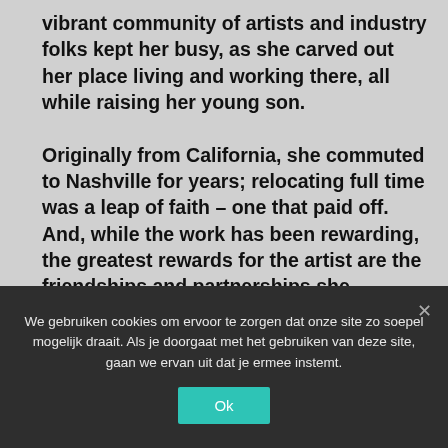vibrant community of artists and industry folks kept her busy, as she carved out her place living and working there, all while raising her young son.

Originally from California, she commuted to Nashville for years; relocating full time was a leap of faith – one that paid off. And, while the work has been rewarding, the greatest rewards for the artist are the friendships and partnerships she maintains there. When an urgent need to move back to California came
We gebruiken cookies om ervoor te zorgen dat onze site zo soepel mogelijk draait. Als je doorgaat met het gebruiken van deze site, gaan we ervan uit dat je ermee instemt.